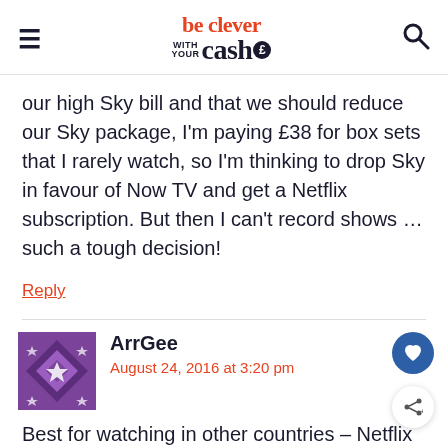be clever with your cash
our high Sky bill and that we should reduce our Sky package, I'm paying £38 for box sets that I rarely watch, so I'm thinking to drop Sky in favour of Now TV and get a Netflix subscription. But then I can't record shows … such a tough decision!
Reply
ArrGee
August 24, 2016 at 3:20 pm
Best for watching in other countries – Netflix